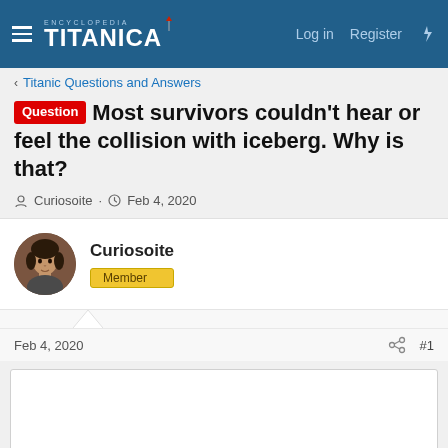Encyclopedia Titanica — Log in  Register
Titanic Questions and Answers
Question  Most survivors couldn't hear or feel the collision with iceberg. Why is that?
Curiosoite · Feb 4, 2020
Curiosoite
Member
Feb 4, 2020  #1